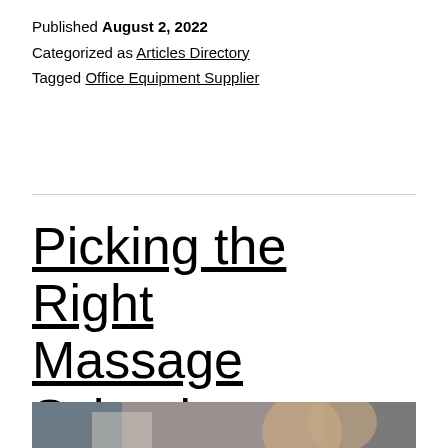Published August 2, 2022
Categorized as Articles Directory
Tagged Office Equipment Supplier
Picking the Right Massage School
[Figure (photo): A person at a desk in a classroom or office environment, partially visible at bottom of page]